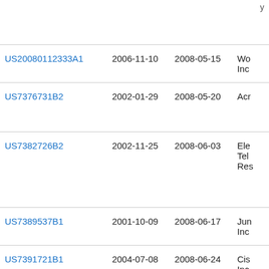| Publication number | Filing date | Publication date | Assignee |
| --- | --- | --- | --- |
| US20080112333A1 | 2006-11-10 | 2008-05-15 | Wo... Inc... |
| US7376731B2 | 2002-01-29 | 2008-05-20 | Acr... |
| US7382726B2 | 2002-11-25 | 2008-06-03 | Ele... Tel... Res... |
| US7389537B1 | 2001-10-09 | 2008-06-17 | Jun... Inc... |
| US7391721B1 | 2004-07-08 | 2008-06-24 | Cis... Inc... |